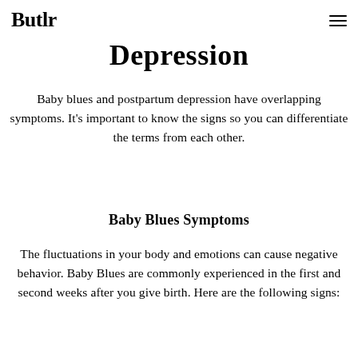Butlr
Depression
Baby blues and postpartum depression have overlapping symptoms. It's important to know the signs so you can differentiate the terms from each other.
Baby Blues Symptoms
The fluctuations in your body and emotions can cause negative behavior. Baby Blues are commonly experienced in the first and second weeks after you give birth. Here are the following signs: